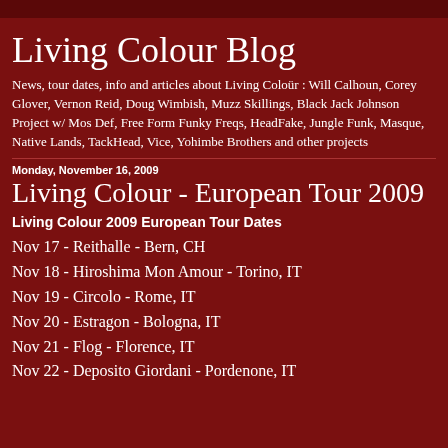Living Colour Blog
News, tour dates, info and articles about Living Coloür : Will Calhoun, Corey Glover, Vernon Reid, Doug Wimbish, Muzz Skillings, Black Jack Johnson Project w/ Mos Def, Free Form Funky Freqs, HeadFake, Jungle Funk, Masque, Native Lands, TackHead, Vice, Yohimbe Brothers and other projects
Monday, November 16, 2009
Living Colour - European Tour 2009
Living Colour 2009 European Tour Dates
Nov 17 - Reithalle - Bern, CH
Nov 18 - Hiroshima Mon Amour - Torino, IT
Nov 19 - Circolo - Rome, IT
Nov 20 - Estragon - Bologna, IT
Nov 21 - Flog - Florence, IT
Nov 22 - Deposito Giordani - Pordenone, IT